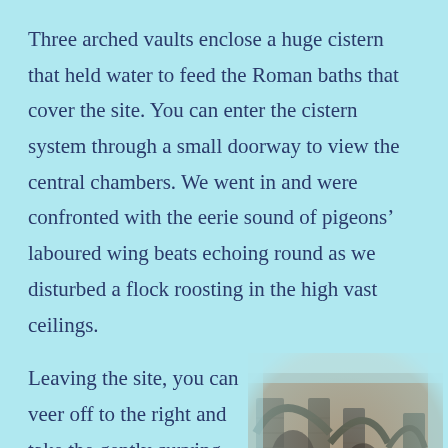Three arched vaults enclose a huge cistern that held water to feed the Roman baths that cover the site. You can enter the cistern system through a small doorway to view the central chambers. We went in and were confronted with the eerie sound of pigeons' laboured wing beats echoing round as we disturbed a flock roosting in the high vast ceilings.
Leaving the site, you can veer off to the right and take the gently curving road to the impressive
[Figure (photo): Photograph of ancient stone arched vaults/cistern with multiple arches and columns visible, stone masonry construction, appearing to be Roman ruins.]